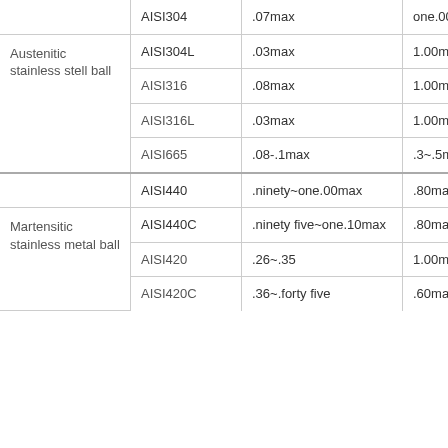| Category | Grade | Carbon Content | Manganese |
| --- | --- | --- | --- |
|  | AISI304 | .07max | one.00max |
| Austenitic stainless stell ball | AISI304L | .03max | 1.00max |
| Austenitic stainless stell ball | AISI316 | .08max | 1.00max |
|  | AISI316L | .03max | 1.00max |
|  | AISI665 | .08-.1max | .3~.5max |
|  | AISI440 | .ninety~one.00max | .80max |
| Martensitic stainless metal ball | AISI440C | .ninety five~one.10max | .80max |
| Martensitic stainless metal ball | AISI420 | .26~.35 | 1.00max |
|  | AISI420C | .36~.forty five | .60max |